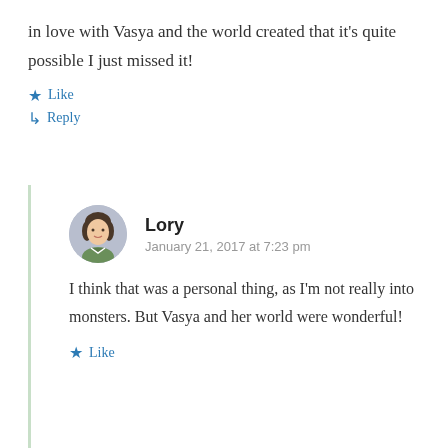in love with Vasya and the world created that it’s quite possible I just missed it!
★ Like
↳ Reply
Lory
January 21, 2017 at 7:23 pm
I think that was a personal thing, as I’m not really into monsters. But Vasya and her world were wonderful!
★ Like